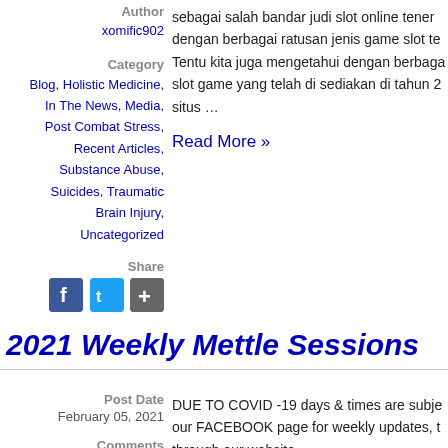Author
xomific902
Category
Blog, Holistic Medicine, In The News, Media, Post Combat Stress, Recent Articles, Substance Abuse, Suicides, Traumatic Brain Injury, Uncategorized
sebagai salah bandar judi slot online tener dengan berbagai ratusan jenis game slot te Tentu kita juga mengetahui dengan berbaga slot game yang telah di sediakan di tahun 2 situs …
Read More »
Share
[Figure (other): Social share icons: Facebook, Twitter, and a plus/more button]
2021 Weekly Mettle Sessions
Post Date
February 05, 2021
Comments
DUE TO COVID -19 days & times are subje our FACEBOOK page for weekly updates, t through our website.